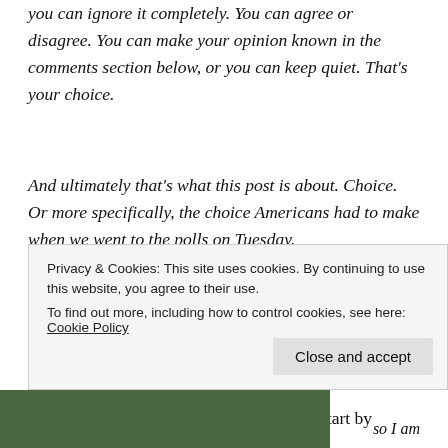you can ignore it completely. You can agree or disagree. You can make your opinion known in the comments section below, or you can keep quiet. That's your choice.
And ultimately that's what this post is about. Choice. Or more specifically, the choice Americans had to make when we went to the polls on Tuesday.
In America these are dark days, indeed
To put all of this in its proper context, I'll start by saying that I am a first-generation American. I am first-generation
Privacy & Cookies: This site uses cookies. By continuing to use this website, you agree to their use.
To find out more, including how to control cookies, see here: Cookie Policy
Close and accept
so I am